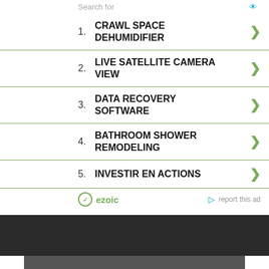Search for
1. CRAWL SPACE DEHUMIDIFIER
2. LIVE SATELLITE CAMERA VIEW
3. DATA RECOVERY SOFTWARE
4. BATHROOM SHOWER REMODELING
5. INVESTIR EN ACTIONS
ezoic   report this ad
Search for
1. TOP TECH STOCKS TO BUY NOW
2. FREE INTERNET TV STREAMING
Ad | Cellphone Guru